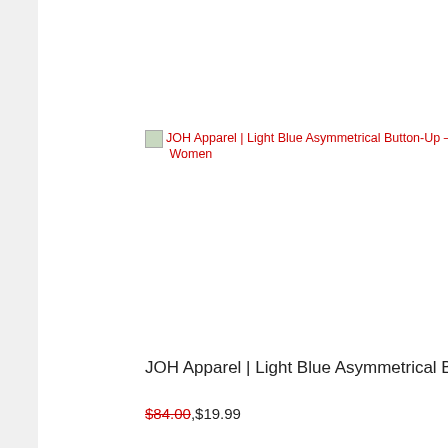[Figure (screenshot): Screenshot of an e-commerce product listing page showing two product cards. Left card: JOH Apparel Light Blue Asymmetrical Button-Up Women, with a Pinterest Save button overlay. Right card partially visible: Morning Ap... product. Both show sale prices with strikethrough original prices in red.]
JOH Apparel | Light Blue Asymmetrical Button-Up – Women
$84.00,$19.99
Morning Ap...
$170.15,$1...